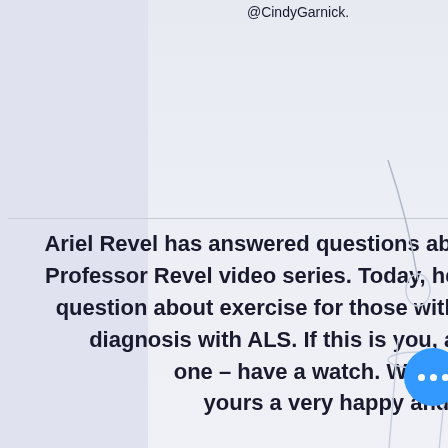@CindyGarnick.
Ariel Revel has answered questions about diabetes in the Ask Professor Revel video series. Today, he answers an important question about exercise for those with a predisposition or a diagnosis with ALS. If this is you, a friend or a loved one – have a watch. Wishing you and yours a very happy and healthy